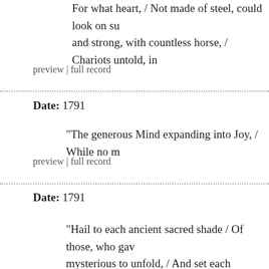For what heart, / Not made of steel, could look on su and strong, with countless horse, / Chariots untold, in
preview | full record
Date: 1791
"The generous Mind expanding into Joy, / While no m
preview | full record
Date: 1791
"Hail to each ancient sacred shade / Of those, who gav mysterious to unfold, / And set each brilliant thought i